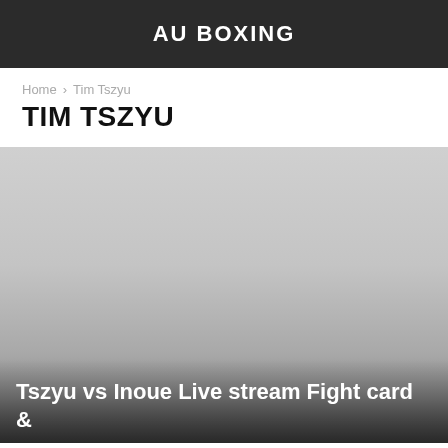AU BOXING
Home  Tim Tszyu
TIM TSZYU
[Figure (photo): Featured article image with gradient overlay, showing a grey-toned background image fading from light at top to dark at bottom.]
Tszyu vs Inoue Live stream Fight card &